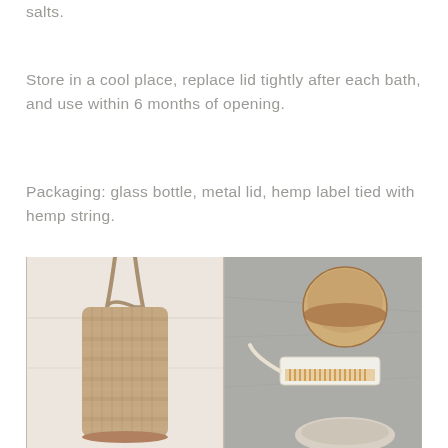salts.
Store in a cool place, replace lid tightly after each bath, and use within 6 months of opening.
Packaging: glass bottle, metal lid, hemp label tied with hemp string.
[Figure (photo): Left: a woven/crocheted jute or hemp scrubbing bag with rope handle hanging against a white fabric background. Right: flat lay of natural bath products on grey concrete surface including a round wooden soap bar, a nail brush with rope handle, and a ceramic dish.]